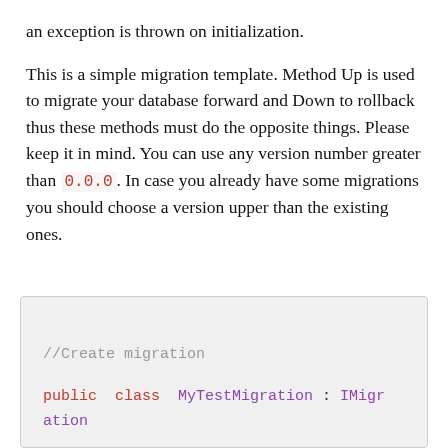an exception is thrown on initialization.

This is a simple migration template. Method Up is used to migrate your database forward and Down to rollback thus these methods must do the opposite things. Please keep it in mind. You can use any version number greater than 0.0.0. In case you already have some migrations you should choose a version upper than the existing ones.
//Create migration

public  class  MyTestMigration : IMigration

{

public  Verstion  Version => new  Vers